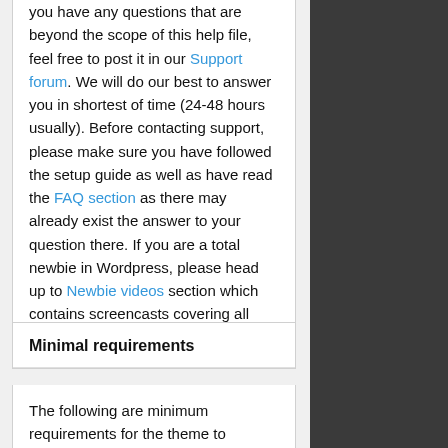you have any questions that are beyond the scope of this help file, feel free to post it in our Support forum. We will do our best to answer you in shortest of time (24-48 hours usually). Before contacting support, please make sure you have followed the setup guide as well as have read the FAQ section as there may already exist the answer to your question there. If you are a total newbie in Wordpress, please head up to Newbie videos section which contains screencasts covering all Wordpress usage options.
Minimal requirements
The following are minimum requirements for the theme to operate